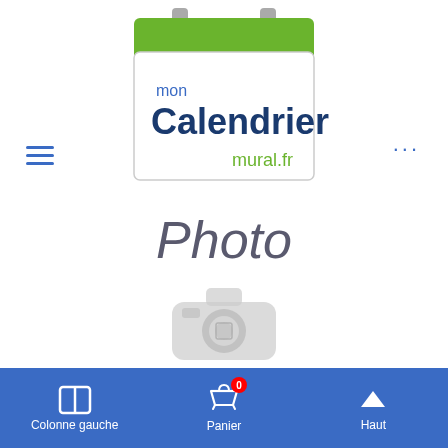[Figure (logo): mon Calendrier mural.fr logo with calendar icon (green top, white body)]
[Figure (illustration): Photo placeholder: italic text 'Photo', grey camera icon, italic text 'à venir']
Colonne gauche   Panier   Haut